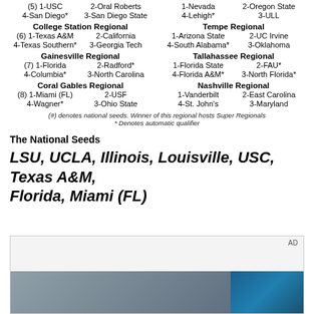(5) 1-USC  2-Oral Roberts  1-Nevada  2-Oregon State
4-San Diego*  3-San Diego State  4-Lehigh*  3-ULL
College Station Regional
(6) 1-Texas A&M  2-California
4-Texas Southern*  3-Georgia Tech
Tempe Regional
1-Arizona State  2-UC Irvine
4-South Alabama*  3-Oklahoma
Gainesville Regional
(7) 1-Florida  2-Radford*
4-Columbia*  3-North Carolina
Tallahassee Regional
1-Florida State  2-FAU*
4-Florida A&M*  3-North Florida*
Coral Gables Regional
(8) 1-Miami (FL)  2-USF
4-Wagner*  3-Ohio State
Nashville Regional
1-Vanderbilt  2-East Carolina
4-St. John's  3-Maryland
(#) denotes national seeds. Winner of this regional hosts Super Regionals
* Denotes automatic qualifier
The National Seeds
LSU, UCLA, Illinois, Louisville, USC, Texas A&M, Florida, Miami (FL)
[Figure (photo): Advertisement box with photo at bottom showing building exterior with blue/teal windows and grey facade]